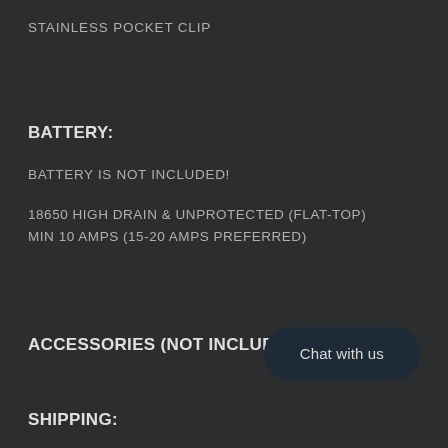STAINLESS POCKET CLIP
BATTERY:
BATTERY IS NOT INCLUDED!
18650 HIGH DRAIN & UNPROTECTED (FLAT-TOP) MIN 10 AMPS (15-20 AMPS PREFERRED)
ACCESSORIES (NOT INCLUDED):
Chat with us
SHIPPING: